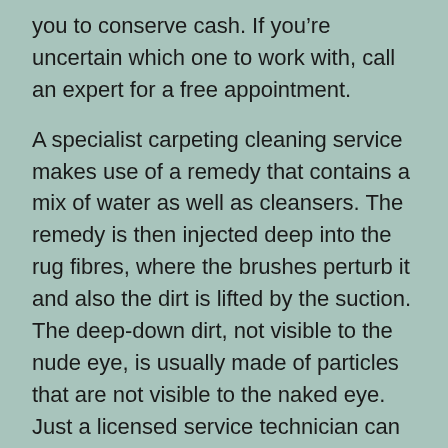you to conserve cash. If you're uncertain which one to work with, call an expert for a free appointment.
A specialist carpeting cleaning service makes use of a remedy that contains a mix of water as well as cleansers. The remedy is then injected deep into the rug fibres, where the brushes perturb it and also the dirt is lifted by the suction. The deep-down dirt, not visible to the nude eye, is usually made of particles that are not visible to the naked eye. Just a licensed service technician can cleanse the much deeper layers of your carpeting.